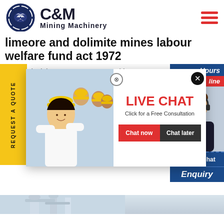[Figure (logo): C&M Mining Machinery logo with eagle/gear emblem in dark blue circle and bold text]
limeore and dolimite mines labour welfare fund act 1972
d mining machine ores lin mond m eore min chine plant in india. limeore min meore sale wet ball mill. limeor ose. theory ore mining value lin
[Figure (screenshot): Live Chat popup overlay with workers in hard hats image, LIVE CHAT heading in red, Click for a Free Consultation, Chat now and Chat later buttons]
[Figure (screenshot): Right sidebar with Hours online, customer service agent photo, Click to Chat and Enquiry sections in blue]
[Figure (photo): Bottom photo of industrial equipment/structure]